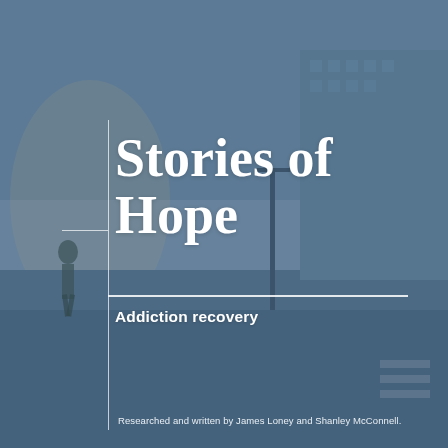[Figure (photo): Street scene photograph with a person walking across a pedestrian crossing near a city building, overlaid with a blue-grey semi-transparent tint]
Stories of Hope
Addiction recovery
Researched and written by James Loney and Shanley McConnell.